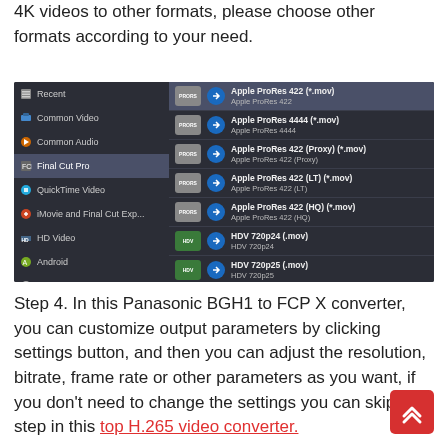4K videos to other formats, please choose other formats according to your need.
[Figure (screenshot): Software UI screenshot showing a video converter format selection menu. Left panel lists categories: Recent, Common Video, Common Audio, Final Cut Pro (highlighted), QuickTime Video, iMovie and Final Cut Exp..., HD Video, Android, Apple, Windows, Editing Software, Game, Media Player, HDTV. Right panel shows Apple ProRes formats and HDV formats.]
Step 4. In this Panasonic BGH1 to FCP X converter, you can customize output parameters by clicking settings button, and then you can adjust the resolution, bitrate, frame rate or other parameters as you want, if you don't need to change the settings you can skip this step in this
top H.265 video converter.